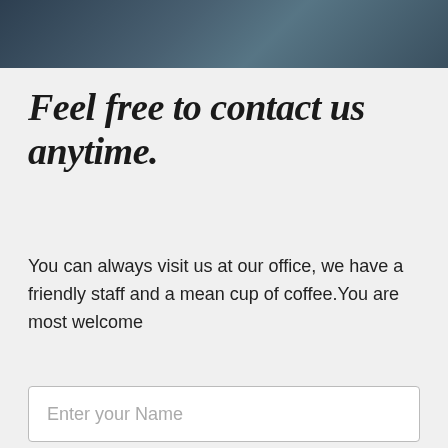[Figure (photo): Dark photo strip showing a person in a suit, partially cropped at top of page]
Feel free to contact us anytime.
You can always visit us at our office, we have a friendly staff and a mean cup of coffee.You are most welcome
Enter your Name
Enter Your Email
Enter Your Phone Number